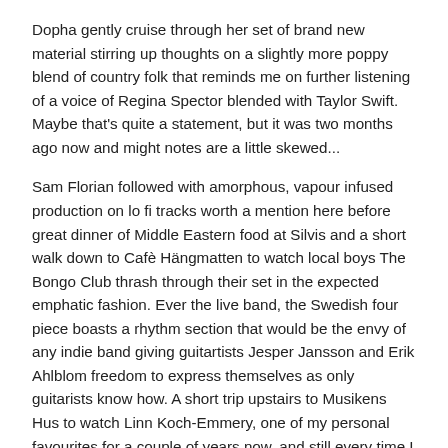Dopha gently cruise through her set of brand new material stirring up thoughts on a slightly more poppy blend of country folk that reminds me on further listening of a voice of Regina Spector blended with Taylor Swift. Maybe that's quite a statement, but it was two months ago now and might notes are a little skewed...
Sam Florian followed with amorphous, vapour infused production on lo fi tracks worth a mention here before great dinner of Middle Eastern food at Silvis and a short walk down to Cafè Hängmatten to watch local boys The Bongo Club thrash through their set in the expected emphatic fashion. Ever the live band, the Swedish four piece boasts a rhythm section that would be the envy of any indie band giving guitartists Jesper Jansson and Erik Ahlblom freedom to express themselves as only guitarists know how. A short trip upstairs to Musikens Hus to watch Linn Koch-Emmery, one of my personal favourites for a couple of years now, and still every time I see Linn perform I believe she is primed for bigger stages across Europe. 'Waves' has been a track I've played on repeat for over a year, if you haven't heard her yet I suggest you start here.
Without going into late night Friday night antics this year (no late night